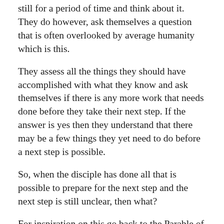still for a period of time and think about it. They do however, ask themselves a question that is often overlooked by average humanity which is this.
They assess all the things they should have accomplished with what they know and ask themselves if there is any more work that needs done before they take their next step. If the answer is yes then they understand that there may be a few things they yet need to do before a next step is possible.
So, when the disciple has done all that is possible to prepare for the next step and the next step is still unclear, then what?
For inspiration on this go back to the Parable of Decision in the first Immortal book. There we see an example of the wrong thing to do. The two who could not make a decision suffered the most. The other two who took the two paths were both far ahead of those who stood still in fear.